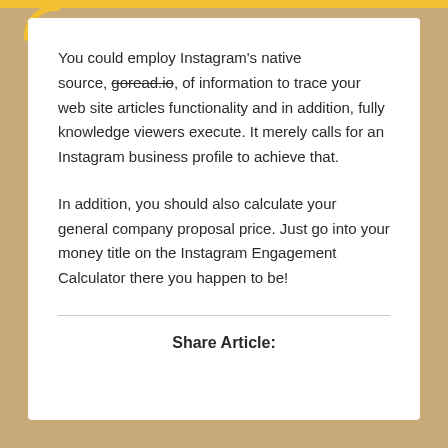You could employ Instagram's native source, goread.io, of information to trace your web site articles functionality and in addition, fully knowledge viewers execute. It merely calls for an Instagram business profile to achieve that.
In addition, you should also calculate your general company proposal price. Just go into your money title on the Instagram Engagement Calculator there you happen to be!
Share Article: